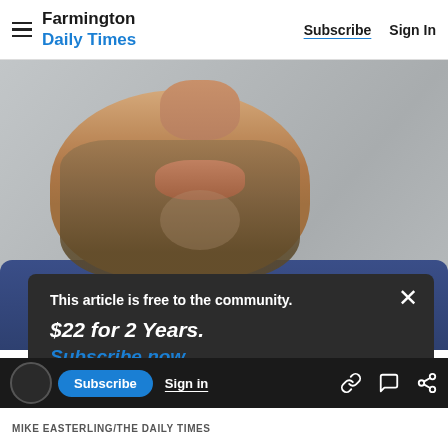Farmington Daily Times | Subscribe | Sign In
[Figure (photo): Close-up photo of a bearded man's face (lower portion, nose to chin) against a brick wall background, wearing a blue shirt]
This article is free to the community.
$22 for 2 Years.
Subscribe now
Subscribe | Sign in | [link icon] [comment icon] [share icon]
MIKE EASTERLING/THE DAILY TIMES